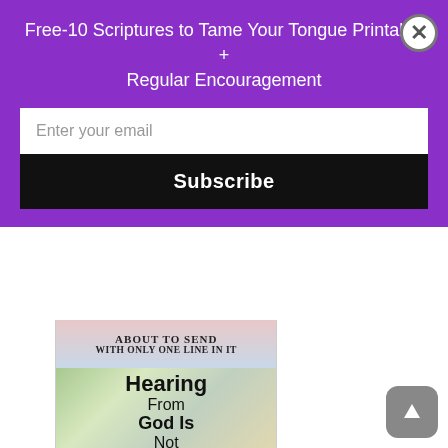Free-10 Scriptures to Tame Your Tongue Printable + Regular Encouragement
Enter your email
Subscribe
[Figure (screenshot): Top portion of article image showing text 'About to Send With Only One Line in It' with blurred pink/blue background]
[Figure (screenshot): Article thumbnail image showing text 'Hearing From God Is Not Just' overlaid on plastic bag background]